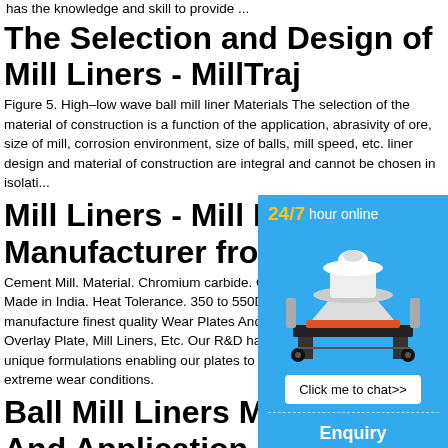has the knowledge and skill to provide ...
The Selection and Design of Mill Liners - MillTraj
Figure 5. High–low wave ball mill liner Materials The selection of the material of construction is a function of the application, abrasivity of ore, size of mill, corrosion environment, size of balls, mill speed, etc. liner design and material of construction are integral and cannot be chosen in isolati...
Mill Liners - Mill Liner Manufacturer from Vad...
Cement Mill. Material. Chromium carbide. C... Made in India. Heat Tolerance. 350 to 550D... manufacture finest quality Wear Plates And... le Overlay Plate, Mill Liners, Etc. Our R&D ha... ral unique formulations enabling our plates to p... extreme wear conditions.
Ball Mill Liners Materia... And Application
[Figure (infographic): 24/7 hour online chat widget showing a cone crusher machine image with 'Click me to chat>>' button, 'Enquiry' section, and 'limingjlmofen' text. Blue background with white and yellow text.]